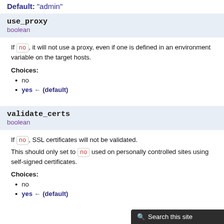Default: "admin"
use_proxy
boolean
If no, it will not use a proxy, even if one is defined in an environment variable on the target hosts.
Choices:
no
yes ← (default)
validate_certs
boolean
If no, SSL certificates will not be validated.
This should only set to no used on personally controlled sites using self-signed certificates.
Choices:
no
yes ← (default)